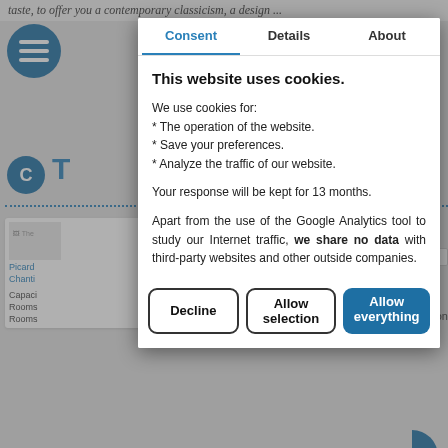taste, to offer you a contemporary classicism, a design ...
[Figure (screenshot): Background webpage showing hotel listings with hamburger menu icon, circular 'C' and 'D' avatar icons, hotel cards with image thumbnails, dotted separator lines, and a partial blue circle on the right side.]
Consent | Details | About
This website uses cookies.
We use cookies for:
* The operation of the website.
* Save your preferences.
* Analyze the traffic of our website.
Your response will be kept for 13 months.
Apart from the use of the Google Analytics tool to study our Internet traffic, we share no data with third-party websites and other outside companies.
Decline | Allow selection | Allow everything